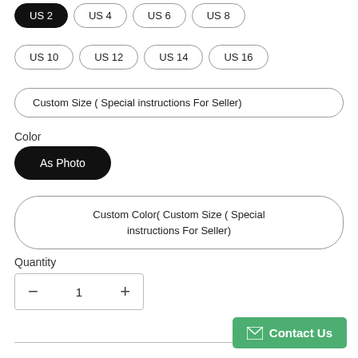US 2 (selected), US 4, US 6, US 8, US 10, US 12, US 14, US 16
Custom Size ( Special instructions For Seller)
Color
As Photo
Custom Color( Custom Size ( Special instructions For Seller)
Quantity
- 1 +
Contact Us